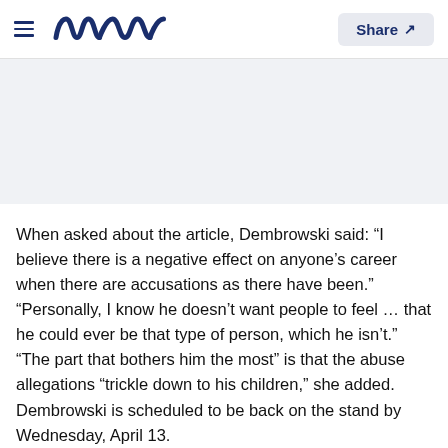Meaww — Share
When asked about the article, Dembrowski said: “I believe there is a negative effect on anyone’s career when there are accusations as there have been.” “Personally, I know he doesn’t want people to feel … that he could ever be that type of person, which he isn’t.” “The part that bothers him the most” is that the abuse allegations “trickle down to his children,” she added. Dembrowski is scheduled to be back on the stand by Wednesday, April 13.